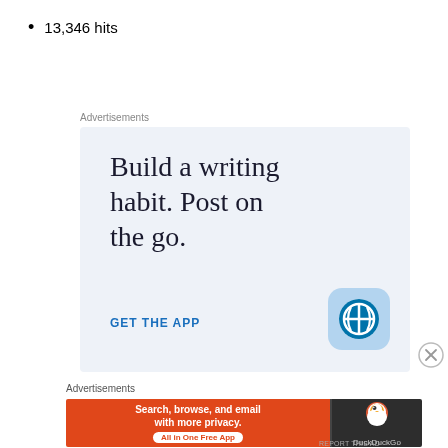13,346 hits
Advertisements
[Figure (illustration): WordPress ad: 'Build a writing habit. Post on the go. GET THE APP' with WordPress logo on light blue background]
Advertisements
[Figure (illustration): DuckDuckGo ad: 'Search, browse, and email with more privacy. All in One Free App' on orange/dark background with DuckDuckGo logo]